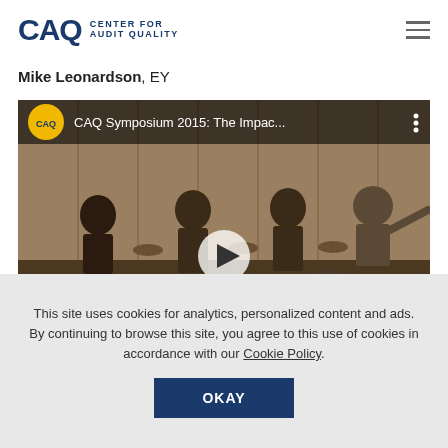CAQ CENTER FOR AUDIT QUALITY
Mike Leonardson, EY
[Figure (screenshot): YouTube video thumbnail for CAQ Symposium 2015: The Impac... showing a panel discussion with audience members seated at round tables in the foreground and panelists on stage in the background. A yellow CAQ logo circle appears in the top-left of the video frame with a dark overlay bar showing the title.]
This site uses cookies for analytics, personalized content and ads. By continuing to browse this site, you agree to this use of cookies in accordance with our Cookie Policy.